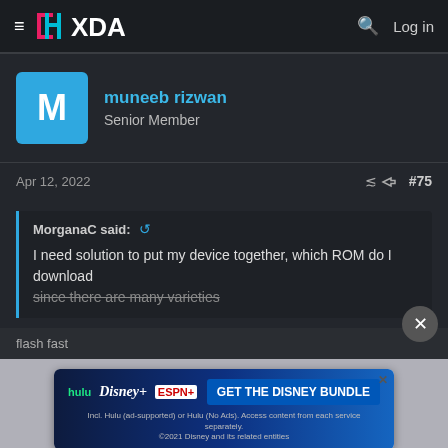XDA — New posts  Manufacturers  What's new  Search forums  Members
muneeb rizwan
Senior Member
Apr 12, 2022  #75
MorganaC said:
I need solution to put my device together, which ROM do I download since there are many varieties
flash fast
[Figure (screenshot): Disney Bundle advertisement banner: Hulu, Disney+, ESPN+ logos with text GET THE DISNEY BUNDLE. Fine print: Incl. Hulu (ad-supported) or Hulu (No Ads). Access content from each service separately. ©2021 Disney and its related entities]